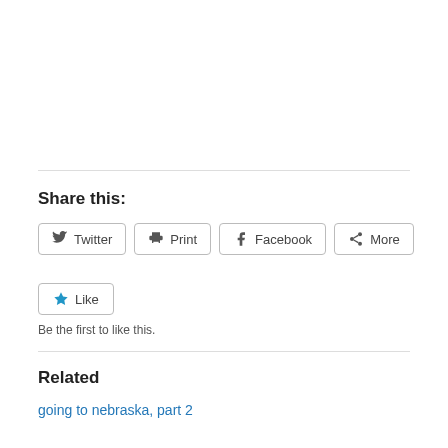Share this:
Twitter
Print
Facebook
More
Like
Be the first to like this.
Related
going to nebraska, part 2